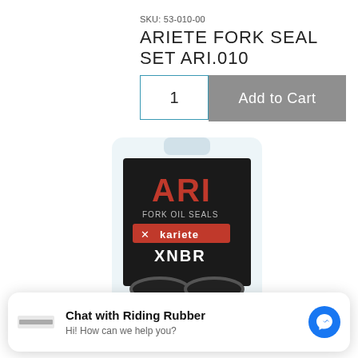SKU: 53-010-00
ARIETE FORK SEAL SET ARI.010
1
Add to Cart
[Figure (photo): Product photo of Ariete Fork Seal Set in clear plastic clam-shell packaging showing ARI brand logo, FORK OIL SEALS text, Kariete logo, and XNBR label]
Chat with Riding Rubber
Hi! How can we help you?